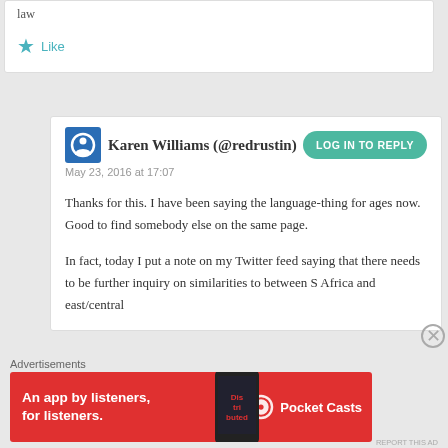law
★ Like
Karen Williams (@redrustin)
May 23, 2016 at 17:07
Thanks for this. I have been saying the language-thing for ages now. Good to find somebody else on the same page.
In fact, today I put a note on my Twitter feed saying that there needs to be further inquiry on similarities to between S Africa and east/central Africa...
Advertisements
[Figure (illustration): Pocket Casts advertisement banner: red background with text 'An app by listeners, for listeners.' and Pocket Casts logo with phone image]